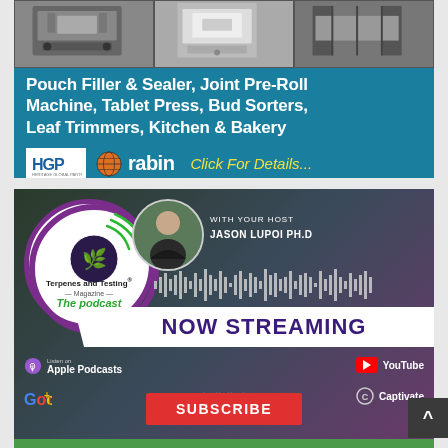[Figure (photo): Advertisement banner for HGP and Rabin featuring photos of industrial machinery (Pouch Filler & Sealer, Joint Pre-Roll Machine, Tablet Press, Bud Sorters, Leaf Trimmers, Kitchen & Bakery equipment) on a teal background with HGP and Rabin logos and 'Click For Details...' call to action.]
[Figure (photo): Advertisement for Terpenes and Testing Magazine podcast, featuring the magazine logo in a circular badge, host Jason Lupoi Ph.D, 'NOW STREAMING' banner, and platform icons for Apple Podcasts, YouTube, Google, and Captivate, with a red Subscribe button.]
[Figure (photo): Partial view of a third advertisement at the bottom of the page, showing a green banner.]